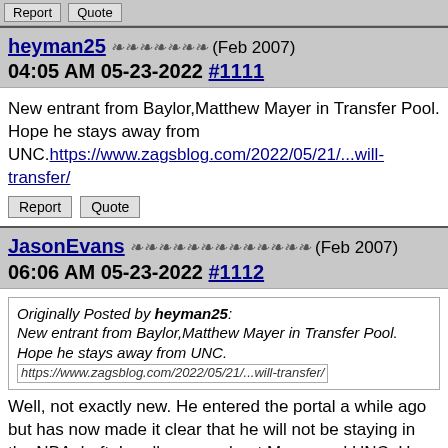Report | Quote (top buttons)
heyman25 ❧❧❧❧❧❧❧ (Feb 2007) 04:05 AM 05-23-2022 #1111
New entrant from Baylor,Matthew Mayer in Transfer Pool. Hope he stays away from UNC. https://www.zagsblog.com/2022/05/21/...will-transfer/
Report | Quote
JasonEvans ❧❧❧❧❧❧❧❧❧❧❧❧❧ (Feb 2007) 06:06 AM 05-23-2022 #1112
Originally Posted by heyman25: New entrant from Baylor,Matthew Mayer in Transfer Pool. Hope he stays away from UNC. https://www.zagsblog.com/2022/05/21/...will-transfer/
Well, not exactly new. He entered the portal a while ago but has now made it clear that he will not be staying in the NBA draft. I really worry about Meyer and UNC. He would fit really nicely into the hole that Manek leaves